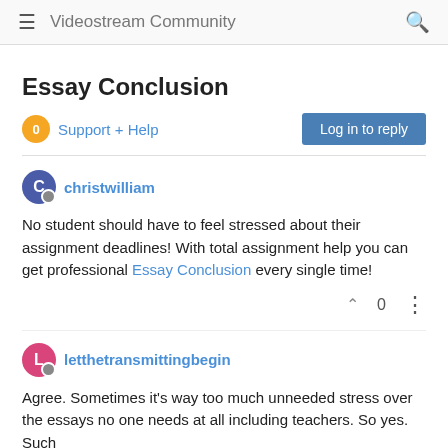Videostream Community
Essay Conclusion
Support + Help   Log in to reply
christwilliam
No student should have to feel stressed about their assignment deadlines! With total assignment help you can get professional Essay Conclusion every single time!
0
letthetransmittingbegin
Agree. Sometimes it's way too much unneeded stress over the essays no one needs at all including teachers. So yes. Such